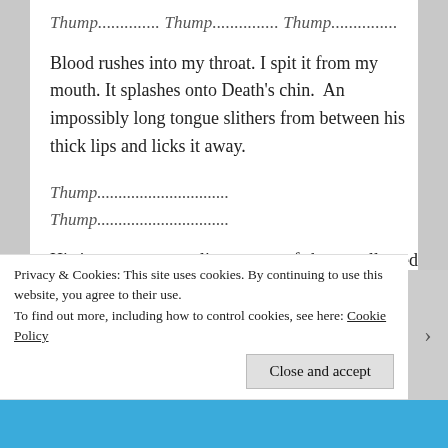Thump.............. Thump............... Thump...............
Blood rushes into my throat. I spit it from my mouth. It splashes onto Death's chin.  An impossibly long tongue slithers from between his thick lips and licks it away.
Thump...............................
Thump...............................
His jaws open, revealing a maw of sharp, yellowed teeth. Their tips glitter in the darkness as long
Privacy & Cookies: This site uses cookies. By continuing to use this website, you agree to their use.
To find out more, including how to control cookies, see here: Cookie Policy
Close and accept